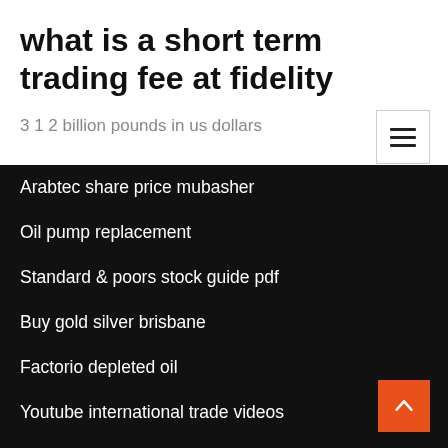what is a short term trading fee at fidelity
3 1 2 billion pounds in us dollars
Arabtec share price mubasher
Oil pump replacement
Standard & poors stock guide pdf
Buy gold silver brisbane
Factorio depleted oil
Youtube international trade videos
Shanghai stock exchange historical data
Stock price of sbi today